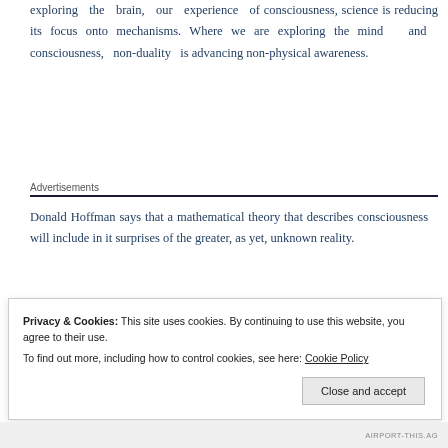exploring the brain, our experience of consciousness, science is reducing its focus onto mechanisms. Where we are exploring the mind and consciousness, non-duality is advancing non-physical awareness.
Advertisements
Donald Hoffman says that a mathematical theory that describes consciousness will include in it surprises of the greater, as yet, unknown reality.
Privacy & Cookies: This site uses cookies. By continuing to use this website, you agree to their use. To find out more, including how to control cookies, see here: Cookie Policy